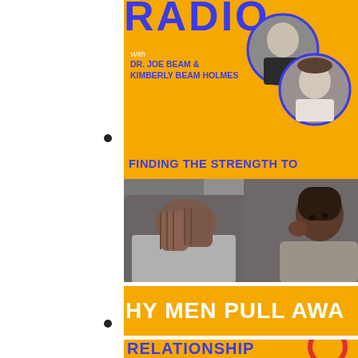RADIO
With
DR. JOE BEAM &
KIMBERLY BEAM HOLMES
[Figure (photo): Circular portrait photos of two hosts: an older man in a suit and a woman in a white blazer, overlapping circles with blue outlines on yellow background]
FINDING THE STRENGTH TO
[Figure (photo): Black and white desaturated photo of a couple in conflict: man on left with hands covering face, woman on right looking away with hand to temple]
WHY MEN PULL AWAY
RELATIONSHIP